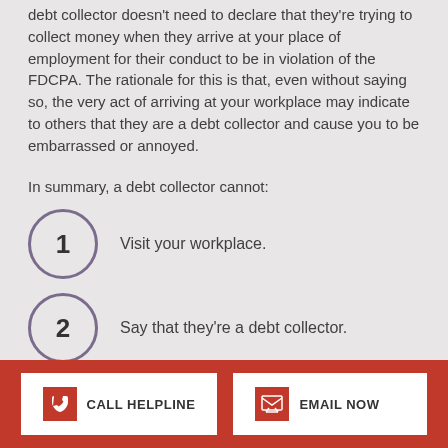debt collector doesn't need to declare that they're trying to collect money when they arrive at your place of employment for their conduct to be in violation of the FDCPA. The rationale for this is that, even without saying so, the very act of arriving at your workplace may indicate to others that they are a debt collector and cause you to be embarrassed or annoyed.
In summary, a debt collector cannot:
1. Visit your workplace.
2. Say that they're a debt collector.
CALL HELPLINE | EMAIL NOW